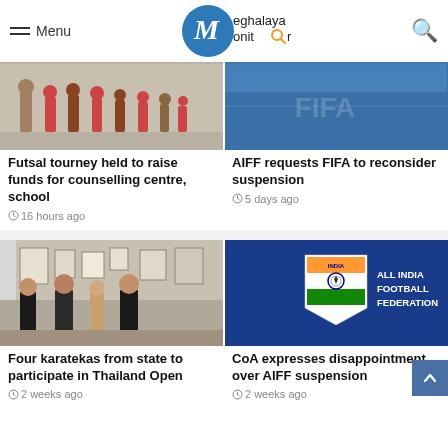Menu | Meghalaya Monitor
[Figure (photo): Photo of people at a futsal tournament]
Futsal tourney held to raise funds for counselling centre, school
16 hours ago
[Figure (photo): AIFF blue banner with FIFA logo]
AIFF requests FIFA to reconsider suspension
5 days ago
[Figure (photo): Four karatekas posing indoors]
Four karatekas from state to participate in Thailand Open
2 weeks ago
[Figure (logo): All India Football Federation logo on blue background]
CoA expresses disappointment over AIFF suspension
2 weeks ago